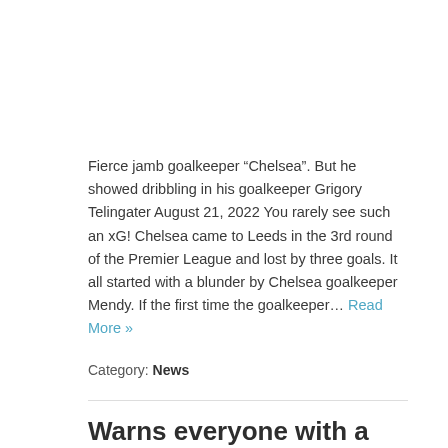Fierce jamb goalkeeper “Chelsea”. But he showed dribbling in his goalkeeper Grigory Telingater August 21, 2022 You rarely see such an xG! Chelsea came to Leeds in the 3rd round of the Premier League and lost by three goals. It all started with a blunder by Chelsea goalkeeper Mendy. If the first time the goalkeeper… Read More »
Category: News
Warns everyone with a BankID: – You must check